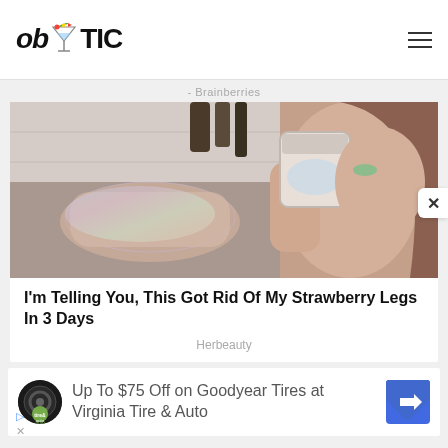[Figure (logo): ob*TIC website logo with cocktail glass icon between ob and TIC]
Brainberries
[Figure (photo): Woman in a bathtub applying glitter scrub to her legs, holding a jar of product]
I'm Telling You, This Got Rid Of My Strawberry Legs In 3 Days
Herbeauty
[Figure (infographic): Advertisement: Up To $75 Off on Goodyear Tires at Virginia Tire & Auto, with tire and auto logo and blue navigation icon]